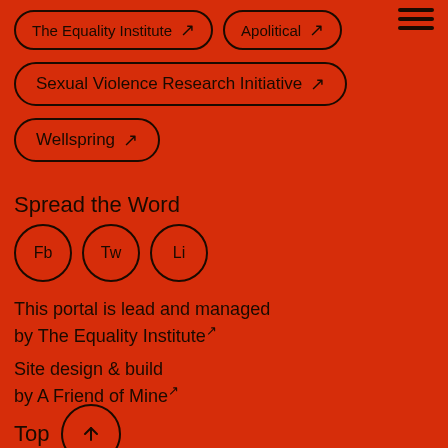The Equality Institute ↗
Apolitical ↗
Sexual Violence Research Initiative ↗
Wellspring ↗
Spread the Word
[Figure (infographic): Three circular social share buttons: Fb, Tw, Li]
This portal is lead and managed by The Equality Institute ↗
Site design & build by A Friend of Mine ↗
Top ↑